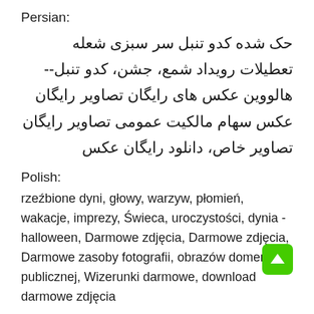Persian:
حک شده کدو تنبل سر سبزی شعله تعطیلات رویداد شمع، جشن، کدو تنبل--هالووین عکس های رایگان تصاویر رایگان عکس سهام مالکیت عمومی تصاویر رایگان تصاویر خاص، دانلود رایگان عکس
Polish:
rzeźbione dyni, głowy, warzyw, płomień, wakacje, imprezy, Świeca, uroczystości, dynia - halloween, Darmowe zdjęcia, Darmowe zdjęcia, Darmowe zasoby fotografii, obrazów domeny publicznej, Wizerunki darmowe, download darmowe zdjęcia
Portuguese:
esculpido abóbora, cabeça, vegetal, flama, férias, eventos, vela, celebração, abóbora - halloween, fotos grátis, imagens grátis, fotografias de ação grátis, imagens de domínio público, imagens grátis, download grátis de imagens
R...